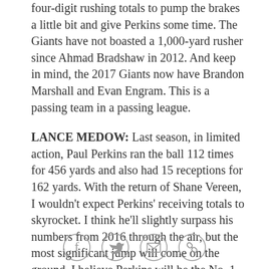four-digit rushing totals to pump the brakes a little bit and give Perkins some time. The Giants have not boasted a 1,000-yard rusher since Ahmad Bradshaw in 2012. And keep in mind, the 2017 Giants now have Brandon Marshall and Evan Engram. This is a passing team in a passing league.
LANCE MEDOW: Last season, in limited action, Paul Perkins ran the ball 112 times for 456 yards and also had 15 receptions for 162 yards. With the return of Shane Vereen, I wouldn't expect Perkins' receiving totals to skyrocket. I think he'll slightly surpass his numbers from 2016 through the air, but the most significant jump will come on the ground. I believe Perkins will be the No. 1 back, and I don't think it's going to be a committee on first and second downs. Barring health, that should give him an opportunity to
[Figure (other): Social sharing icons: Facebook, Twitter, Email, and Link/chain icon, each inside a circle outline]